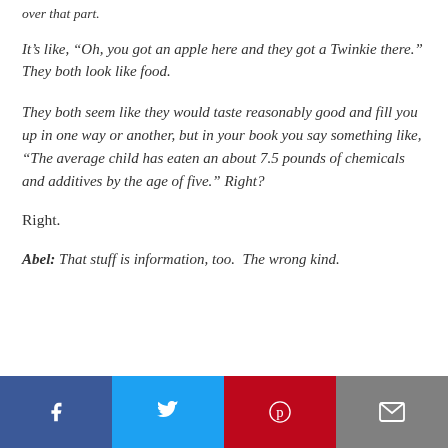over that part.
It’s like, “Oh, you got an apple here and they got a Twinkie there.” They both look like food.
They both seem like they would taste reasonably good and fill you up in one way or another, but in your book you say something like, “The average child has eaten an about 7.5 pounds of chemicals and additives by the age of five.” Right?
Right.
Abel: That stuff is information, too. The wrong kind.
[Figure (infographic): Social sharing bar with four buttons: Facebook (blue), Twitter (light blue), Pinterest (red), Email (grey)]